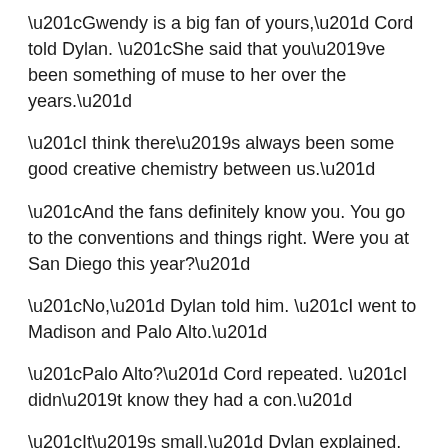“Gwendy is a big fan of yours,” Cord told Dylan.  “She said that you’ve been something of muse to her over the years.”
“I think there’s always been some good creative chemistry between us.”
“And the fans definitely know you.  You go to the conventions and things right.  Were you at San Diego this year?”
“No,” Dylan told him.  “I went to Madison and Palo Alto.”
“Palo Alto?”  Cord repeated.  “I didn’t know they had a con.”
“It’s small,” Dylan explained.  “Kind of an unofficial younger step brother of San Diego.”